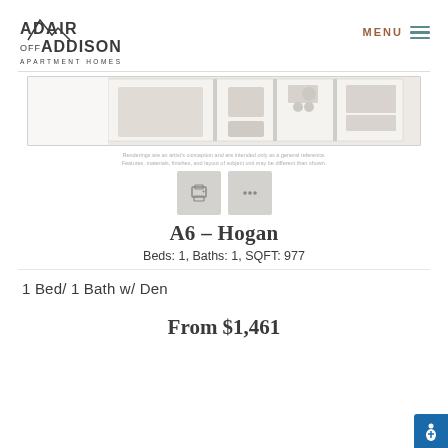ADAIR OFF ADDISON APARTMENT HOMES | MENU
[Figure (illustration): Partial floor plan rendering of apartment unit A6 Hogan, showing top-down view of rooms including kitchen and bathroom areas]
Renderings are an artist's conception and are intended only as a general reference. Features, materials, finishes, and layout of subject unit may be different than shown.
[Figure (other): Two icon buttons: a print icon and a more options (three dots) icon, both on gray square backgrounds]
A6 – Hogan
Beds: 1, Baths: 1, SQFT: 977
1 Bed/ 1 Bath w/ Den
From $1,461